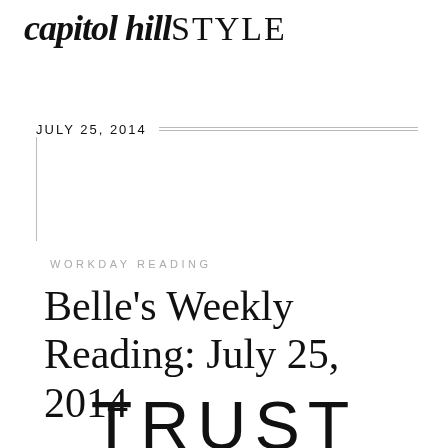capitol hill STYLE
JULY 25, 2014
WORKDAY READING
Belle's Weekly Reading: July 25, 2014
TRUST THE